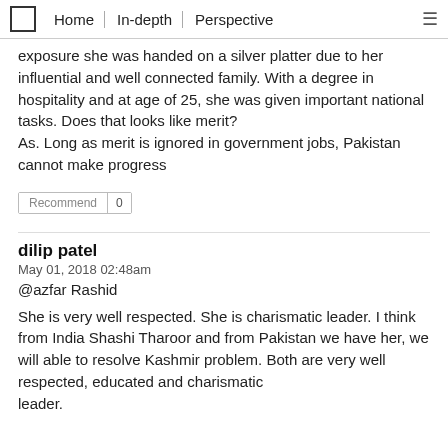Home | In-depth | Perspective
exposure she was handed on a silver platter due to her influential and well connected family. With a degree in hospitality and at age of 25, she was given important national tasks. Does that looks like merit?
As. Long as merit is ignored in government jobs, Pakistan cannot make progress
Recommend 0
dilip patel
May 01, 2018 02:48am
@azfar Rashid
She is very well respected. She is charismatic leader. I think from India Shashi Tharoor and from Pakistan we have her, we will able to resolve Kashmir problem. Both are very well respected, educated and charismatic leader.